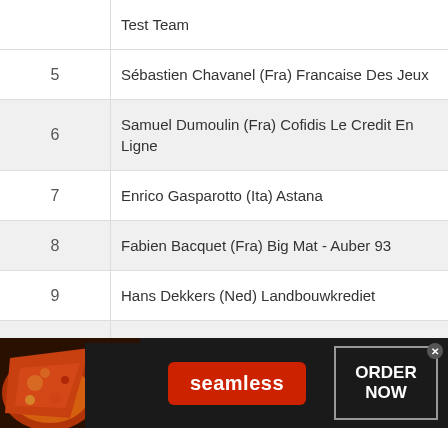| # | Rider |
| --- | --- |
|  | Test Team |
| 5 | Sébastien Chavanel (Fra) Francaise Des Jeux |
| 6 | Samuel Dumoulin (Fra) Cofidis Le Credit En Ligne |
| 7 | Enrico Gasparotto (Ita) Astana |
| 8 | Fabien Bacquet (Fra) Big Mat - Auber 93 |
| 9 | Hans Dekkers (Ned) Landbouwkrediet |
| 10 | Tom Veelers (Ned) Skil - Shimano |
| 11 | Marco Marcato (Ita) Vacansoleil Pro Cycling Team |
[Figure (infographic): Seamless food ordering advertisement banner with pizza image, Seamless logo, and ORDER NOW button]